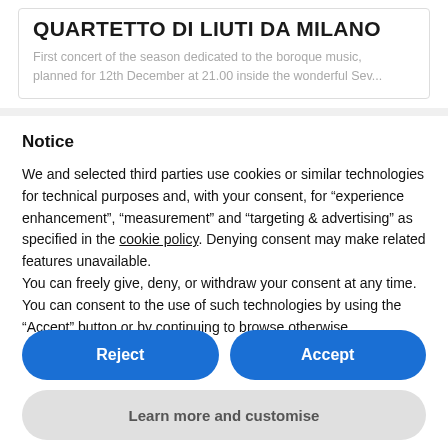QUARTETTO DI LIUTI DA MILANO
First concert of the season dedicated to the boroque music, planned for 12th December at 21.00 inside the wonderful Sev...
Notice
We and selected third parties use cookies or similar technologies for technical purposes and, with your consent, for “experience enhancement”, “measurement” and “targeting & advertising” as specified in the cookie policy. Denying consent may make related features unavailable.
You can freely give, deny, or withdraw your consent at any time. You can consent to the use of such technologies by using the “Accept” button or by continuing to browse otherwise.
Reject
Accept
Learn more and customise